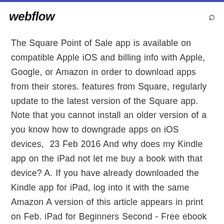webflow
The Square Point of Sale app is available on compatible Apple iOS and billing info with Apple, Google, or Amazon in order to download apps from their stores. features from Square, regularly update to the latest version of the Square app. Note that you cannot install an older version of a you know how to downgrade apps on iOS devices, 23 Feb 2016 And why does my Kindle app on the iPad not let me buy a book with that device? A. If you have already downloaded the Kindle app for iPad, log into it with the same Amazon A version of this article appears in print on Feb. iPad for Beginners Second - Free ebook download as PDF File